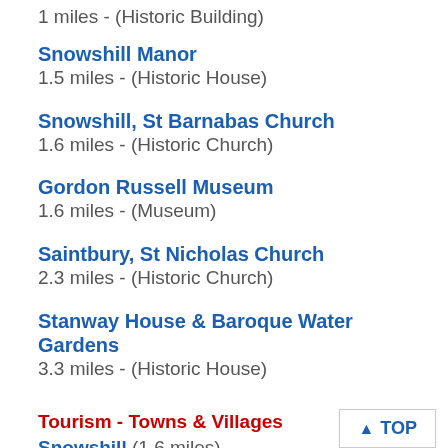1 miles - (Historic Building)
Snowshill Manor
1.5 miles - (Historic House)
Snowshill, St Barnabas Church
1.6 miles - (Historic Church)
Gordon Russell Museum
1.6 miles - (Museum)
Saintbury, St Nicholas Church
2.3 miles - (Historic Church)
Stanway House & Baroque Water Gardens
3.3 miles - (Historic House)
Tourism - Towns & Villages
Snowshill (1.6 miles)
Stanton (2.1 miles)